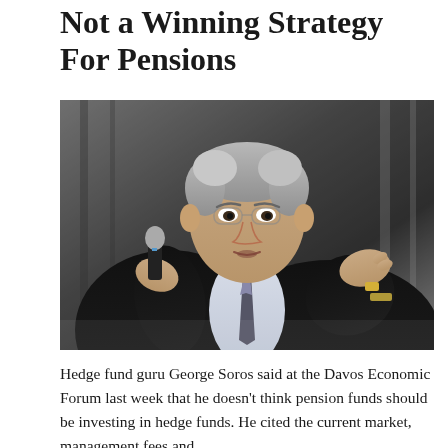Not a Winning Strategy For Pensions
[Figure (photo): Elderly man in a dark suit holding a microphone and gesturing with his right hand, speaking at an event. The background is dark grey.]
Hedge fund guru George Soros said at the Davos Economic Forum last week that he doesn't think pension funds should be investing in hedge funds. He cited the current market, management fees and